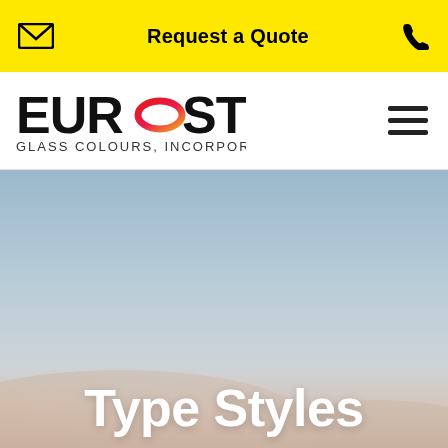Request a Quote
[Figure (logo): Eurostyle Glass Colours, Incorporated logo with stylized oval O in red-to-yellow gradient]
Type Styles
[Figure (photo): Soft gradient sky background image, light blue and peach/sand tones, used as hero background]